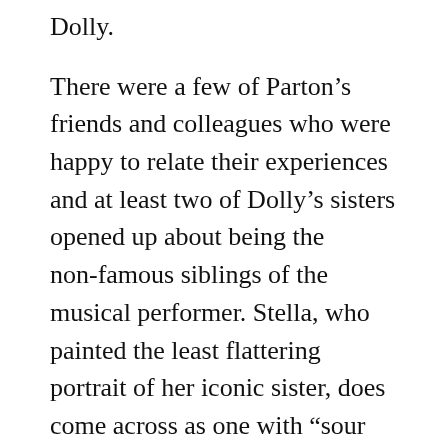Dolly.
There were a few of Parton’s friends and colleagues who were happy to relate their experiences and at least two of Dolly’s sisters opened up about being the non-famous siblings of the musical performer. Stella, who painted the least flattering portrait of her iconic sister, does come across as one with “sour grape” syndrome but she insists that despite her less than flattering picture she loves her sister.
Regardless of the lack of participants in the